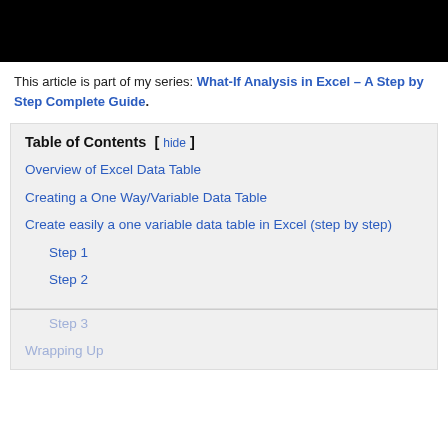[Figure (screenshot): Black header image/banner at the top of the article page]
This article is part of my series: What-If Analysis in Excel – A Step by Step Complete Guide.
Table of Contents [ hide ]
Overview of Excel Data Table
Creating a One Way/Variable Data Table
Create easily a one variable data table in Excel (step by step)
Step 1
Step 2
Step 3
Wrapping Up